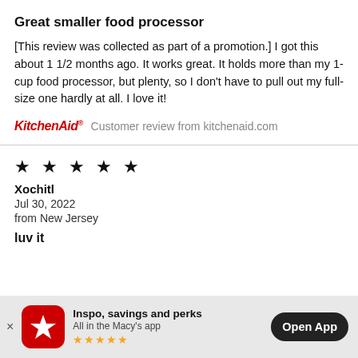Great smaller food processor
[This review was collected as part of a promotion.] I got this about 1 1/2 months ago. It works great. It holds more than my 1-cup food processor, but plenty, so I don't have to pull out my full-size one hardly at all. I love it!
KitchenAid  Customer review from kitchenaid.com
★ ★ ★ ★ ★
Xochitl
Jul 30, 2022
from New Jersey
luv it
Inspo, savings and perks
All in the Macy's app